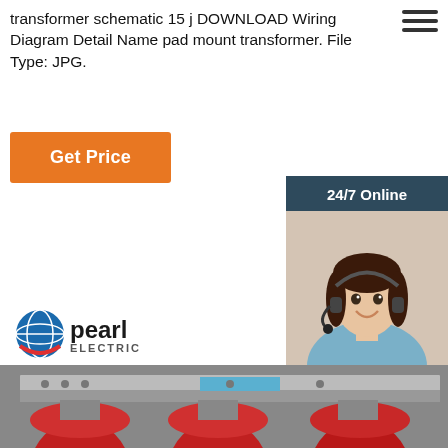transformer schematic 15 j DOWNLOAD Wiring Diagram Detail Name pad mount transformer. File Type: JPG.
[Figure (other): Orange 'Get Price' button]
[Figure (other): 24/7 Online chat panel with agent photo and QUOTATION button]
[Figure (logo): Pearl Electric logo with blue globe icon and 'pearl ELECTRIC' text]
[Figure (photo): Industrial dry-type transformer with red cylindrical coils, Pearl Electric branding, en.pearlelectric.com watermark]